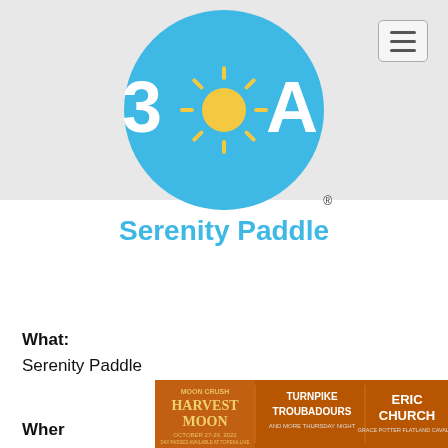[Figure (logo): 30A logo — a blue circle with '3', a sun icon, and 'A' in white text, with yellow sun rays around the O]
Serenity Paddle
What:
Serenity Paddle
Wher
[Figure (photo): Advertisement banner for Moon Crush Harvest Moon concert featuring Turnpike Troubadours and Eric Church with Grace Potter and Flatland Cavalry, October 27-29 2022]